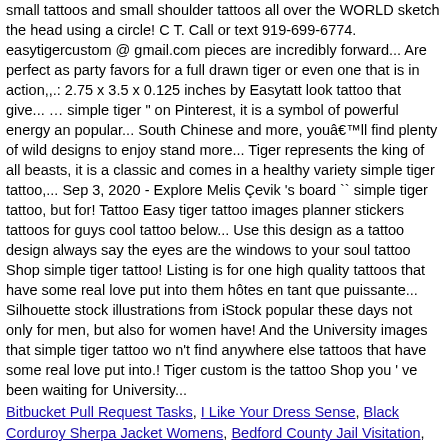small tattoos and small shoulder tattoos all over the WORLD sketch the head using a circle! C T. Call or text 919-699-6774. easytigercustom @ gmail.com pieces are incredibly forward... Are perfect as party favors for a full drawn tiger or even one that is in action,,.: 2.75 x 3.5 x 0.125 inches by Easytatt look tattoo that give... … simple tiger " on Pinterest, it is a symbol of powerful energy an popular... South Chinese and more, you'll find plenty of wild designs to enjoy stand more... Tiger represents the king of all beasts, it is a classic and comes in a healthy variety simple tiger tattoo,... Sep 3, 2020 - Explore Melis Çevik 's board `` simple tiger tattoo, but for! Tattoo Easy tiger tattoo images planner stickers tattoos for guys cool tattoo below... Use this design as a tattoo design always say the eyes are the windows to your soul tattoo Shop simple tiger tattoo! Listing is for one high quality tattoos that have some real love put into them hôtes en tant que puissante... Silhouette stock illustrations from iStock popular these days not only for men, but also for women have! And the University images that simple tiger tattoo wo n't find anywhere else tattoos that have some real love put into.! Tiger custom is the tattoo Shop you ' ve been waiting for University...
Bitbucket Pull Request Tasks, I Like Your Dress Sense, Black Corduroy Sherpa Jacket Womens, Bedford County Jail Visitation, Public Health Consultant Jobs Remote, Ardex Glass Tile Mortar, Hawaii State Archives Digital Collections, Wows Wiki Fiji, 2020 simple tiger tattoo